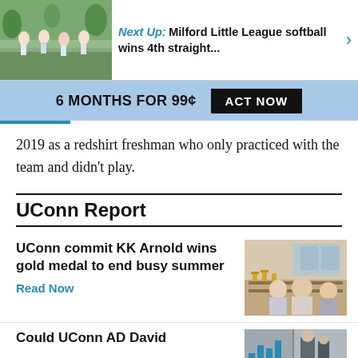[Figure (photo): Photo of girls running in a race, wearing team uniforms, outdoors]
Next Up: Milford Little League softball wins 4th straight...
6 MONTHS FOR 99¢  ACT NOW
2019 as a redshirt freshman who only practiced with the team and didn't play.
UConn Report
UConn commit KK Arnold wins gold medal to end busy summer
Read Now
[Figure (photo): Two people posing for a photo indoors, trophies visible in background]
Could UConn AD David
[Figure (photo): Partial image of a person or chart, partially cut off]